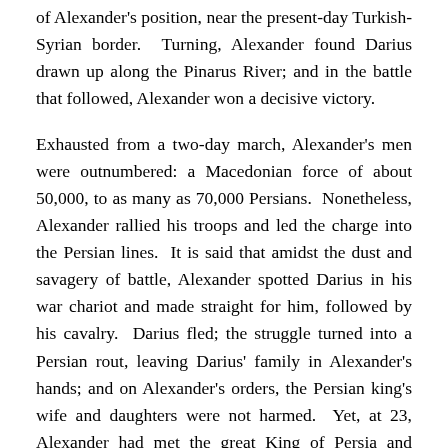of Alexander's position, near the present-day Turkish-Syrian border. Turning, Alexander found Darius drawn up along the Pinarus River; and in the battle that followed, Alexander won a decisive victory.
Exhausted from a two-day march, Alexander's men were outnumbered: a Macedonian force of about 50,000, to as many as 70,000 Persians. Nonetheless, Alexander rallied his troops and led the charge into the Persian lines. It is said that amidst the dust and savagery of battle, Alexander spotted Darius in his war chariot and made straight for him, followed by his cavalry. Darius fled; the struggle turned into a Persian rout, leaving Darius' family in Alexander's hands; and on Alexander's orders, the Persian king's wife and daughters were not harmed. Yet, at 23, Alexander had met the great King of Persia and defeated him.